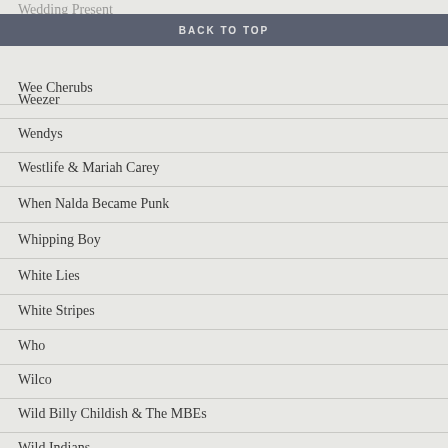BACK TO TOP
Wee Cherubs
Weezer
Wendys
Westlife & Mariah Carey
When Nalda Became Punk
Whipping Boy
White Lies
White Stripes
Who
Wilco
Wild Billy Childish & The MBEs
Wild Indians
Wild Swans